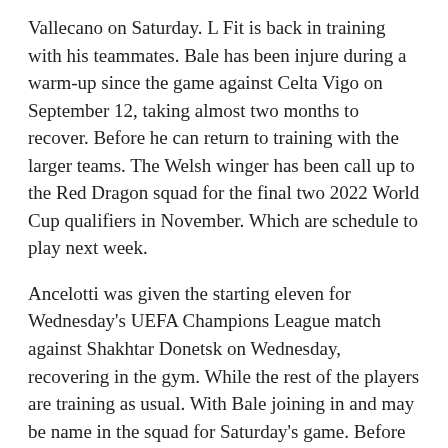Vallecano on Saturday. L Fit is back in training with his teammates. Bale has been injure during a warm-up since the game against Celta Vigo on September 12, taking almost two months to recover. Before he can return to training with the larger teams. The Welsh winger has been call up to the Red Dragon squad for the final two 2022 World Cup qualifiers in November. Which are schedule to play next week.
Ancelotti was given the starting eleven for Wednesday's UEFA Champions League match against Shakhtar Donetsk on Wednesday, recovering in the gym. While the rest of the players are training as usual. With Bale joining in and may be name in the squad for Saturday's game. Before traveling to collect with the Wales national team
The Welsh footballer, called up by his country for the next two international matches in November, is injure in the warm-up prior to the duel with Celta de Vigo in the